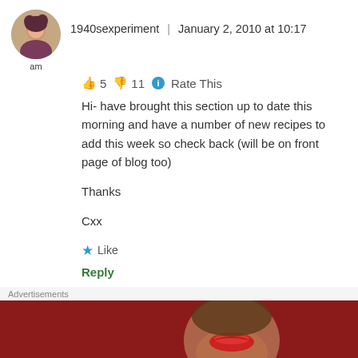1940sexperiment | January 2, 2010 at 10:17
👍 5 👎 11 ℹ Rate This
Hi- have brought this section up to date this morning and have a number of new recipes to add this week so check back (will be on front page of blog too)

Thanks

Cxx
★ Like
Reply
Advertisements
[Figure (illustration): Macy's advertisement banner: red background with woman's face/lips, text 'KISS BORING LIPS GOODBYE', SHOP NOW button, Macys star logo]